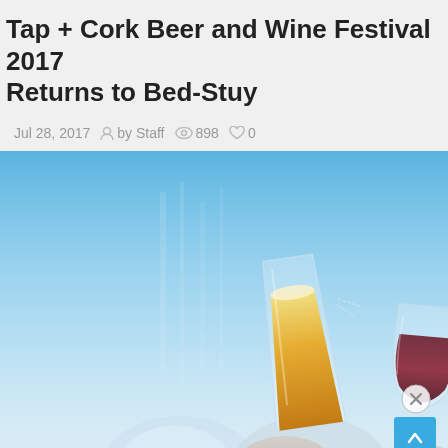Tap + Cork Beer and Wine Festival 2017 Returns to Bed-Stuy
Jul 28, 2017  by Staff  898  0
[Figure (photo): Two glasses being clinked together in a toast — a tall beer glass filled with golden amber beer and a wine glass filled with dark red wine — against a bright blue sky background. Hands holding the glasses are partially visible at the bottom.]